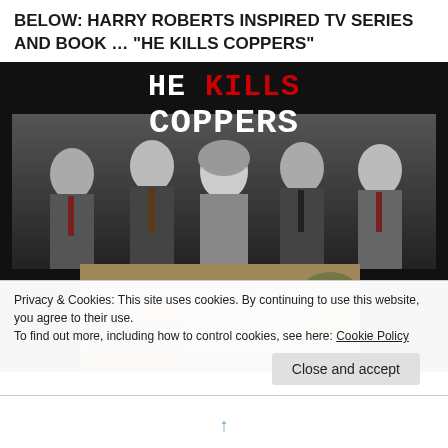BELOW: HARRY ROBERTS INSPIRED TV SERIES AND BOOK … “HE KILLS COPPERS”
[Figure (photo): Book/TV series cover image for 'He Kills Coppers' showing the title text with 'HE' and 'COPPERS' in white and 'KILLS' in red, over a black-and-white group photo of four men and a woman, with a sepia-toned crime scene photo below showing a police officer and vehicles.]
Privacy & Cookies: This site uses cookies. By continuing to use this website, you agree to their use.
To find out more, including how to control cookies, see here: Cookie Policy
Close and accept